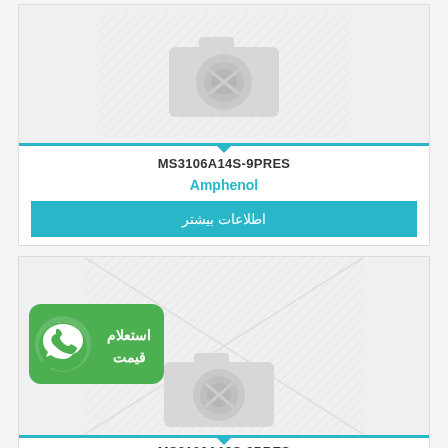[Figure (other): Product image placeholder for MS3106A14S-9PRES - camera placeholder icon on light background with diagonal lines]
MS3106A14S-9PRES
Amphenol
اطلاعات بیشتر
[Figure (other): Product image placeholder with diagonal lines and WhatsApp price inquiry badge in bottom-left, camera icon placeholder]
MS3106A12S-3PRES